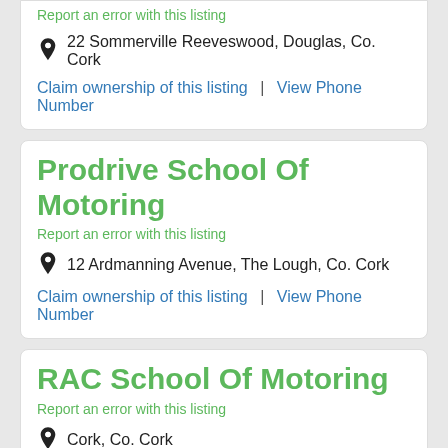Report an error with this listing
22 Sommerville Reeveswood, Douglas, Co. Cork
Claim ownership of this listing | View Phone Number
Prodrive School Of Motoring
Report an error with this listing
12 Ardmanning Avenue, The Lough, Co. Cork
Claim ownership of this listing | View Phone Number
RAC School Of Motoring
Report an error with this listing
Cork, Co. Cork